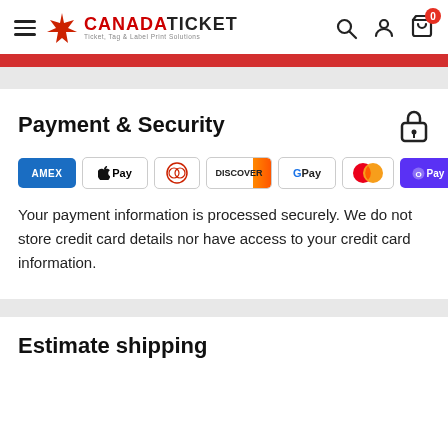CanadaTicket - Ticket, Tag & Label Print Solutions
Payment & Security
[Figure (logo): Payment method icons: Amex, Apple Pay, Diners Club, Discover, Google Pay, Mastercard, Shop Pay, Visa]
Your payment information is processed securely. We do not store credit card details nor have access to your credit card information.
Estimate shipping